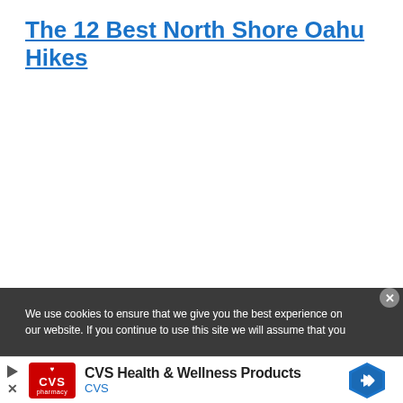The 12 Best North Shore Oahu Hikes
We use cookies to ensure that we give you the best experience on our website. If you continue to use this site we will assume that you
[Figure (other): CVS Health & Wellness Products advertisement banner with CVS pharmacy logo, navigation arrow icon, and text 'CVS Health & Wellness Products' with 'CVS' in blue below.]